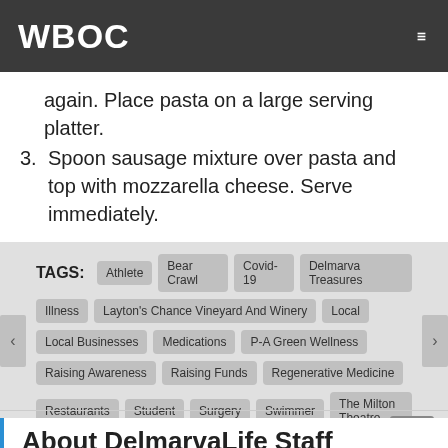WBOC
again. Place pasta on a large serving platter.
3. Spoon sausage mixture over pasta and top with mozzarella cheese. Serve immediately.
TAGS: Athlete  Bear Crawl  Covid-19  Delmarva Treasures  Illness  Layton's Chance Vineyard And Winery  Local  Local Businesses  Medications  P-A Green Wellness  Raising Awareness  Raising Funds  Regenerative Medicine  Restaurants  Student  Surgery  Swimmer  The Milton Theatre
About DelmarvaLife Staff